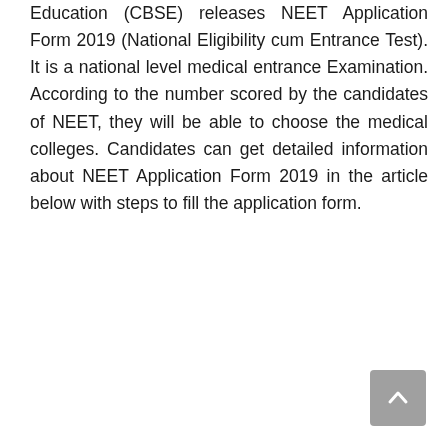Education (CBSE) releases NEET Application Form 2019 (National Eligibility cum Entrance Test). It is a national level medical entrance Examination. According to the number scored by the candidates of NEET, they will be able to choose the medical colleges. Candidates can get detailed information about NEET Application Form 2019 in the article below with steps to fill the application form.